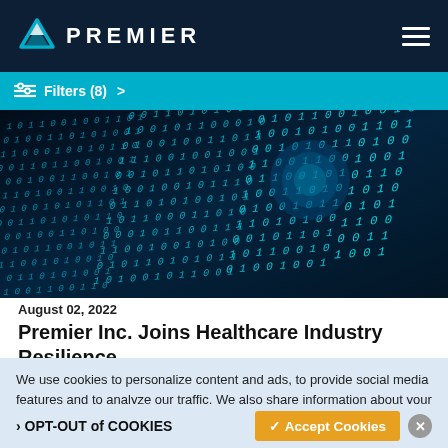PREMIER
Filters (8) >
[Figure (photo): Dark digital binary code background with glowing teal/blue 0s and 1s floating in perspective, cybersecurity/data theme]
August 02, 2022
Premier Inc. Joins Healthcare Industry Resilience
We use cookies to personalize content and ads, to provide social media features and to analyze our traffic. We also share information about your use of our site with our social media, advertising and analytics partners. Premier, Inc Privacy Policy
OPT-OUT of COOKIES   ✓ Accept Cookies